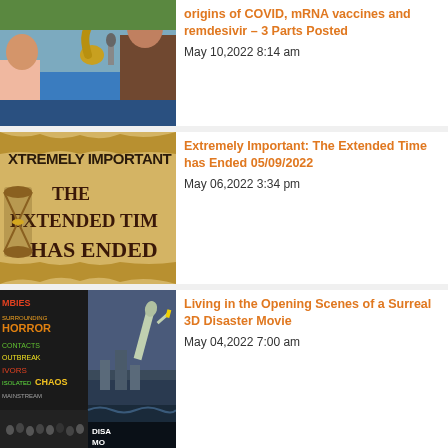[Figure (photo): TV studio scene with two men and a cobra snake on a blue desk, with a BRIGH logo watermark]
origins of COVID, mRNA vaccines and remdesivir – 3 Parts Posted
May 10,2022 8:14 am
[Figure (photo): Poster with worn parchment background reading EXTREMELY IMPORTANT THE EXTENDED TIME HAS ENDED with an hourglass]
Extremely Important: The Extended Time has Ended 05/09/2022
May 06,2022 3:34 pm
[Figure (photo): Composite image showing word cloud with zombie/disaster themes and a disaster movie poster with Statue of Liberty]
Living in the Opening Scenes of a Surreal 3D Disaster Movie
May 04,2022 7:00 am